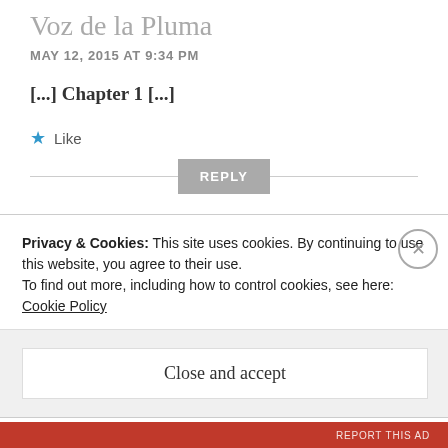Voz de la Pluma
MAY 12, 2015 AT 9:34 PM
[...] Chapter 1 [...]
★ Like
REPLY
EOTB — Eye of the Beholder | Voz de
Privacy & Cookies: This site uses cookies. By continuing to use this website, you agree to their use.
To find out more, including how to control cookies, see here: Cookie Policy
Close and accept